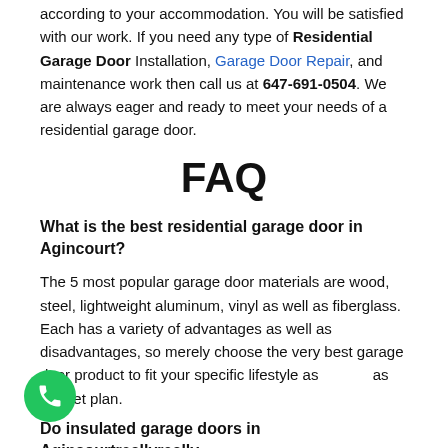according to your accommodation. You will be satisfied with our work. If you need any type of Residential Garage Door Installation, Garage Door Repair, and maintenance work then call us at 647-691-0504. We are always eager and ready to meet your needs of a residential garage door.
FAQ
What is the best residential garage door in Agincourt?
The 5 most popular garage door materials are wood, steel, lightweight aluminum, vinyl as well as fiberglass. Each has a variety of advantages as well as disadvantages, so merely choose the very best garage door product to fit your specific lifestyle as well as budget plan.
Do insulated garage doors in Agincourtreallyreally